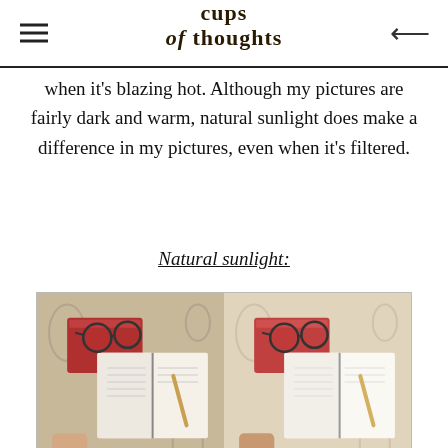cups of thoughts
when it's blazing hot. Although my pictures are fairly dark and warm, natural sunlight does make a difference in my pictures, even when it's filtered.
Natural sunlight:
[Figure (photo): Side-by-side before and after photos of an open bullet journal/notebook with glasses and books on a patterned blanket. Left image labeled 'Before', right image labeled 'After'.]
[Figure (photo): Side-by-side before and after photos of a laptop on a patterned blanket, time showing 9:50, partially visible at bottom of page.]